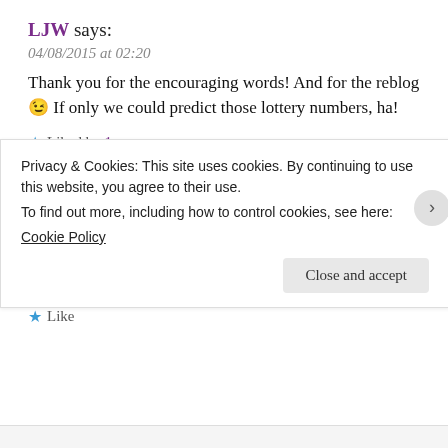LJW says:
04/08/2015 at 02:20
Thank you for the encouraging words! And for the reblog 😉 If only we could predict those lottery numbers, ha!
★ Liked by 1 person
REPLY
Opinionated Man says:
04/08/2015 at 02:20
I am still trying to! 😉
★ Like
Privacy & Cookies: This site uses cookies. By continuing to use this website, you agree to their use. To find out more, including how to control cookies, see here: Cookie Policy
Close and accept